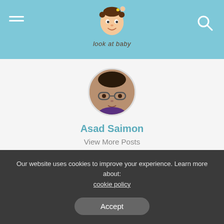look at baby
[Figure (photo): Author profile photo of Asad Saimon — a man wearing glasses and a purple/dark shirt, circular cropped headshot]
Asad Saimon
View More Posts
I am a Digital Marketer, Content writer & SEO Expert with over 7 years of experience. I have worked on successful campaigns for many startups and new enterprises. I specialize in creating high-quality content that engages and converts readers into customers.
Our website uses cookies to improve your experience. Learn more about: cookie policy
Accept